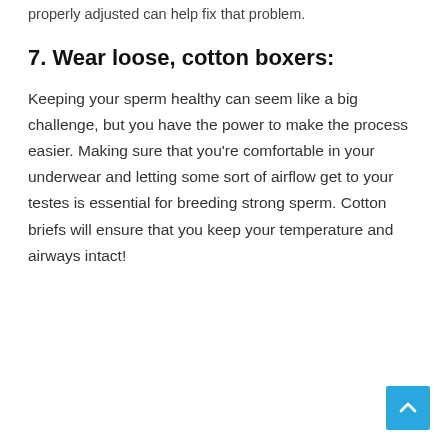properly adjusted can help fix that problem.
7. Wear loose, cotton boxers:
Keeping your sperm healthy can seem like a big challenge, but you have the power to make the process easier. Making sure that you're comfortable in your underwear and letting some sort of airflow get to your testes is essential for breeding strong sperm. Cotton briefs will ensure that you keep your temperature and airways intact!